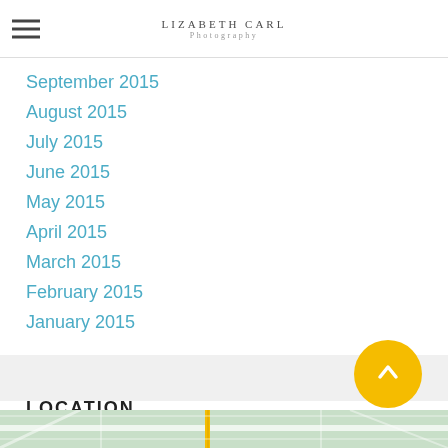LIZABETH CARL Photography
September 2015
August 2015
July 2015
June 2015
May 2015
April 2015
March 2015
February 2015
January 2015
LOCATION
[Figure (map): Street map showing location]